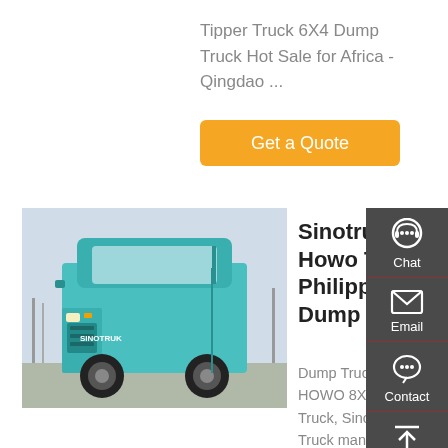Tipper Truck 6X4 Dump Truck Hot Sale for Africa - Qingdao ...
Get a Quote
[Figure (photo): Front view of a teal/turquoise Sinotruk Howo dump truck]
Sinotruk Howo Truck Philippines Dump
Dump Truck for Sale, HOWO 8X4 Dump Truck, Sinotruk Dump Truck manufacturer / supplier in China, offering Sinotruk HOWO 40 Ton 8X4 Dump Truck Tipper Dumper, Shacman Delong Weichai Steyr Euro II 6X4 Dump
Chat
Email
Contact
Top